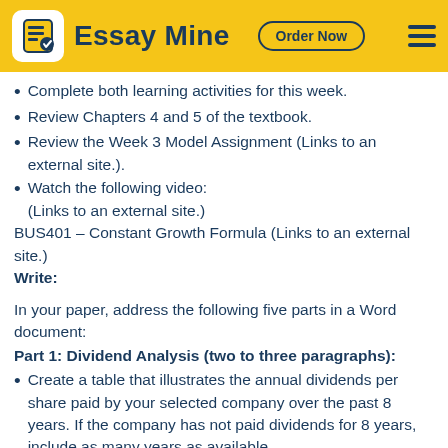Essay Mine  Order Now
Complete both learning activities for this week.
Review Chapters 4 and 5 of the textbook.
Review the Week 3 Model Assignment (Links to an external site.).
Watch the following video:
(Links to an external site.)
BUS401 – Constant Growth Formula (Links to an external site.)
Write:
In your paper, address the following five parts in a Word document:
Part 1: Dividend Analysis (two to three paragraphs):
Create a table that illustrates the annual dividends per share paid by your selected company over the past 8 years. If the company has not paid dividends for 8 years, include as many years as available.
https://content.bridgepointeducation.com/curriculum/file/1581b2ef-cd47-422c-a884